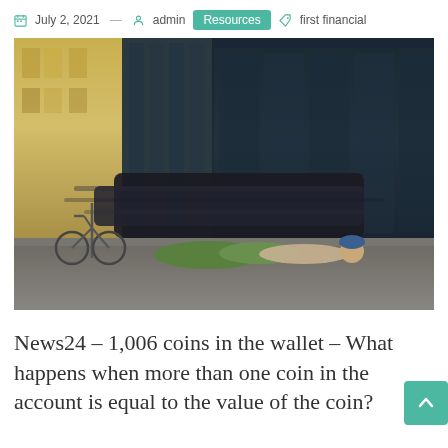July 2, 2021 — admin Resources first financial
[Figure (photo): Street-level photo of a person lying on the sidewalk of a busy city street with a green sleeping bag, a blue cap, tall buildings in the background, a bicycle leaning against a pole, and a blurred black car passing by.]
News24 – 1,006 coins in the wallet – What happens when more than one coin in the account is equal to the value of the coin?